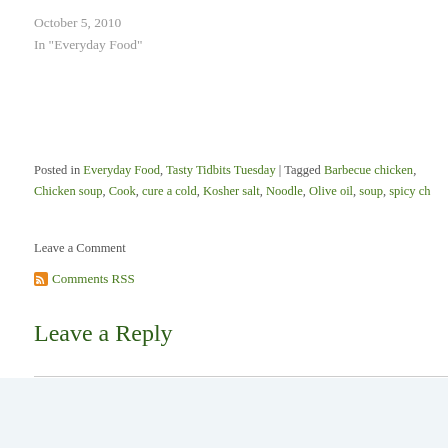October 5, 2010
In "Everyday Food"
Posted in Everyday Food, Tasty Tidbits Tuesday | Tagged Barbecue chicken, Chicken soup, Cook, cure a cold, Kosher salt, Noodle, Olive oil, soup, spicy ch...
Leave a Comment
Comments RSS
Leave a Reply
Your email address will not be published. Required fields are marked *